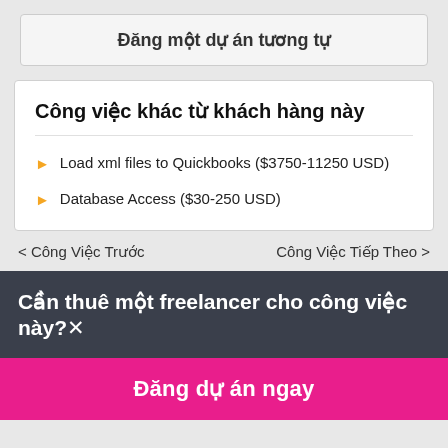Đăng một dự án tương tự
Công việc khác từ khách hàng này
Load xml files to Quickbooks ($3750-11250 USD)
Database Access ($30-250 USD)
< Công Việc Trước
Công Việc Tiếp Theo >
Cần thuê một freelancer cho công việc này?×
Đăng dự án ngay